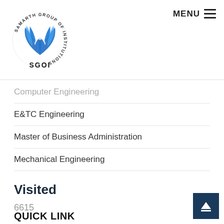[Figure (logo): Samarth Group of Institutions (SGOI) logo with circular text and blue stylized flower/fountain graphic above SGOI text]
MENU ≡
Computer Engineering
E&TC Engineering
Master of Business Administration
Mechanical Engineering
Visited
6615
QUICK LINK